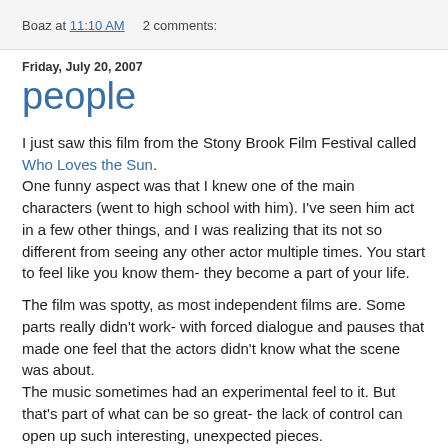Boaz at 11:10 AM    2 comments:
Friday, July 20, 2007
people
I just saw this film from the Stony Brook Film Festival called Who Loves the Sun. One funny aspect was that I knew one of the main characters (went to high school with him). I've seen him act in a few other things, and I was realizing that its not so different from seeing any other actor multiple times. You start to feel like you know them- they become a part of your life.
The film was spotty, as most independent films are. Some parts really didn't work- with forced dialogue and pauses that made one feel that the actors didn't know what the scene was about. The music sometimes had an experimental feel to it. But that's part of what can be so great- the lack of control can open up such interesting, unexpected pieces.